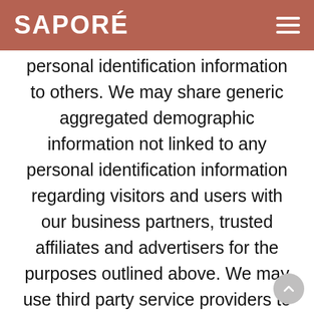SAPORÉ
personal identification information to others. We may share generic aggregated demographic information not linked to any personal identification information regarding visitors and users with our business partners, trusted affiliates and advertisers for the purposes outlined above. We may use third party service providers to help us operate our business and the Site or administer activities on our behalf, such as sending out newsletters or surveys. We may share your information with